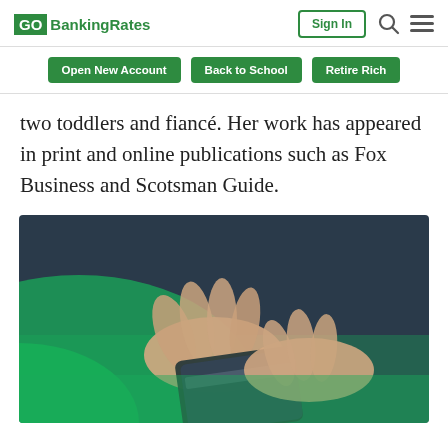GOBankingRates | Sign In [search] [menu]
Open New Account | Back to School | Retire Rich
two toddlers and fiancé. Her work has appeared in print and online publications such as Fox Business and Scotsman Guide.
[Figure (photo): Person's hands holding and using a credit/bank card over a green-tinted background]